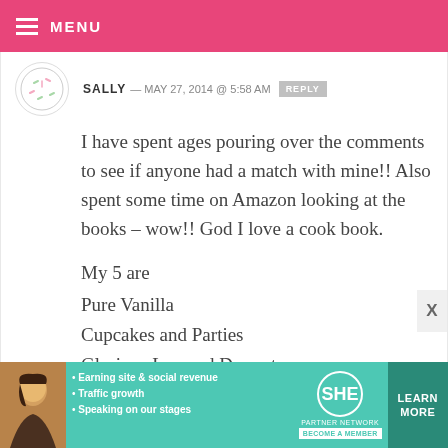MENU
SALLY — MAY 27, 2014 @ 5:58 AM   REPLY
I have spent ages pouring over the comments to see if anyone had a match with mine!! Also spent some time on Amazon looking at the books – wow!! God I love a cook book.
My 5 are
Pure Vanilla
Cupcakes and Parties
Glorious Layered Desserts
Meringue Girls
Eat More Dessert
[Figure (infographic): SHE Partner Network advertisement banner with photo of woman, bullet points about earning site & social revenue, traffic growth, speaking on our stages, SHE logo, and LEARN MORE button]